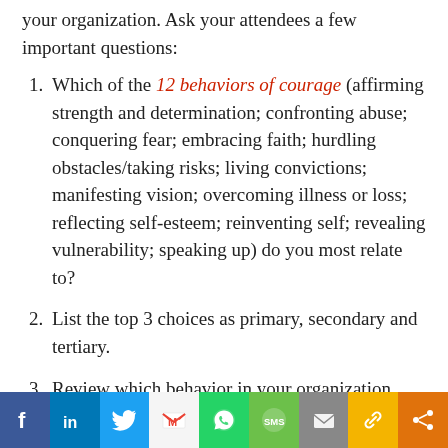your organization. Ask your attendees a few important questions:
Which of the 12 behaviors of courage (affirming strength and determination; confronting abuse; conquering fear; embracing faith; hurdling obstacles/taking risks; living convictions; manifesting vision; overcoming illness or loss; reflecting self-esteem; reinventing self; revealing vulnerability; speaking up) do you most relate to?
List the top 3 choices as primary, secondary and tertiary.
Review which behavior in your organization might be weighted and